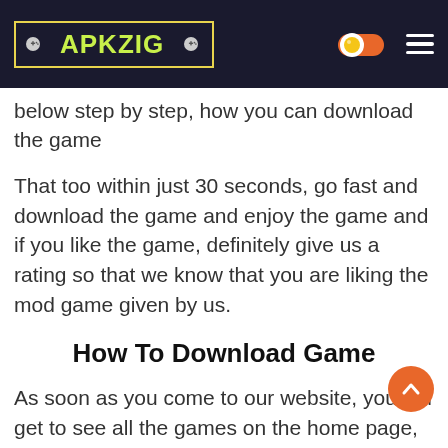APKZIG
below step by step, how you can download the game
That too within just 30 seconds, go fast and download the game and enjoy the game and if you like the game, definitely give us a rating so that we know that you are liking the mod game given by us.
How To Download Game
As soon as you come to our website, you will get to see all the games on the home page, if any game you want to play, open your game by searching it in the search bar.
After you open the game page of Download that APK will